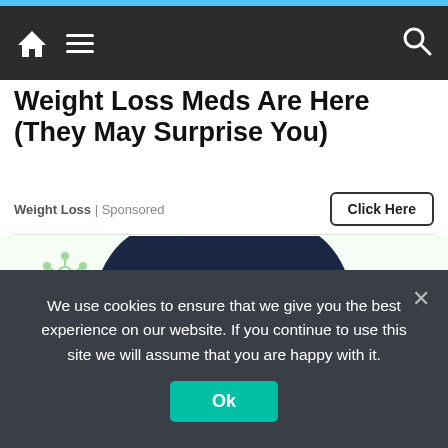Navigation bar with home, menu, and search icons
Weight Loss Meds Are Here (They May Surprise You)
Weight Loss | Sponsored
Click Here
[Figure (illustration): Cartoon illustration of a worried woman with dark hair on a light background with green molecular/virus icons]
We use cookies to ensure that we give you the best experience on our website. If you continue to use this site we will assume that you are happy with it.
Ok